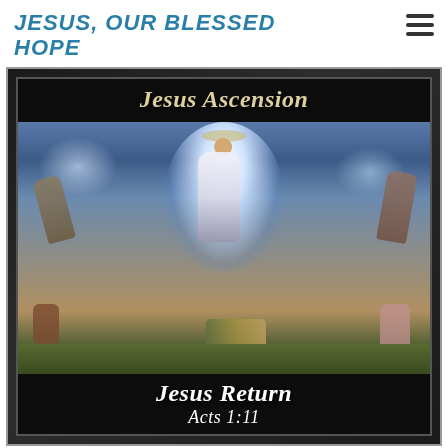JESUS, OUR BLESSED HOPE
[Figure (illustration): Religious illustration showing Jesus Ascension painting (Transfiguration scene) with figures around a central glowing ascending Jesus, framed with black banners. Top banner reads 'Jesus Ascension', bottom banner reads 'Jesus Return' and 'Acts 1:11'.]